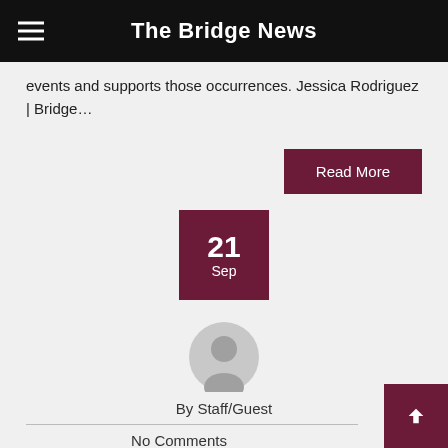The Bridge News
events and supports those occurrences. Jessica Rodriguez | Bridge…
Read More
21 Sep
[Figure (illustration): Gray circular avatar/user icon]
By Staff/Guest
No Comments